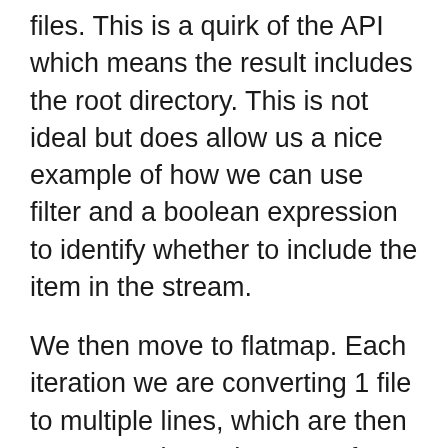files. This is a quirk of the API which means the result includes the root directory. This is not ideal but does allow us a nice example of how we can use filter and a boolean expression to identify whether to include the item in the stream.
We then move to flatmap. Each iteration we are converting 1 file to multiple lines, which are then aggregated together: a perfect use of flatmap. We can use the new Files.lines to return a Stream of Strings. We return a Stream so that we can continue to use lambdas on the implementation of the other